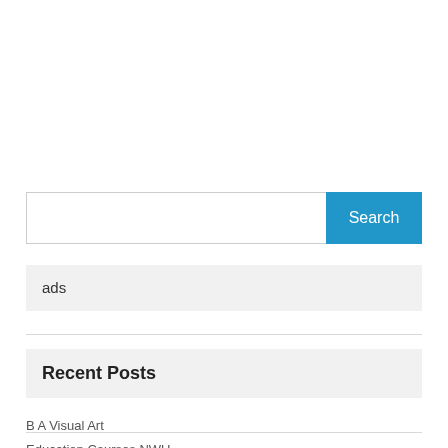Search
ads
Recent Posts
B A Visual Art
Education Courses NWU